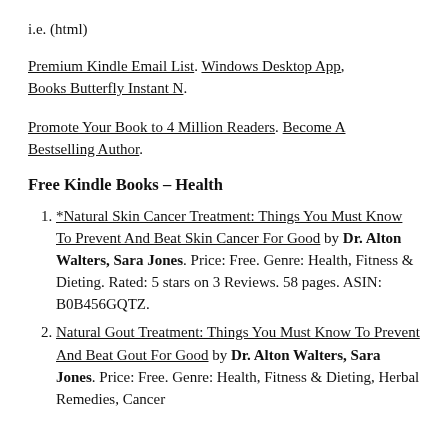i.e. (html)
Premium Kindle Email List. Windows Desktop App, Books Butterfly Instant N.
Promote Your Book to 4 Million Readers. Become A Bestselling Author.
Free Kindle Books – Health
*Natural Skin Cancer Treatment: Things You Must Know To Prevent And Beat Skin Cancer For Good by Dr. Alton Walters, Sara Jones. Price: Free. Genre: Health, Fitness & Dieting. Rated: 5 stars on 3 Reviews. 58 pages. ASIN: B0B456GQTZ.
Natural Gout Treatment: Things You Must Know To Prevent And Beat Gout For Good by Dr. Alton Walters, Sara Jones. Price: Free. Genre: Health, Fitness & Dieting, Herbal Remedies, Cancer...